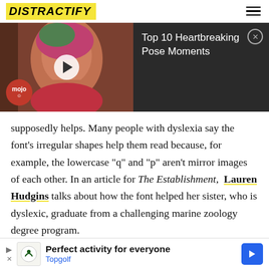DISTRACTIFY
[Figure (screenshot): Video player thumbnail showing a woman wearing a pink head wrap, with a play button overlay and mojo badge. Right side shows dark panel with title 'Top 10 Heartbreaking Pose Moments' and close button.]
supposedly helps. Many people with dyslexia say the font's irregular shapes help them read because, for example, the lowercase "q" and "p" aren't mirror images of each other. In an article for The Establishment, Lauren Hudgins talks about how the font helped her sister, who is dyslexic, graduate from a challenging marine zoology degree program.
[Figure (screenshot): Advertisement banner for Topgolf: 'Perfect activity for everyone' with Topgolf logo and blue arrow icon.]